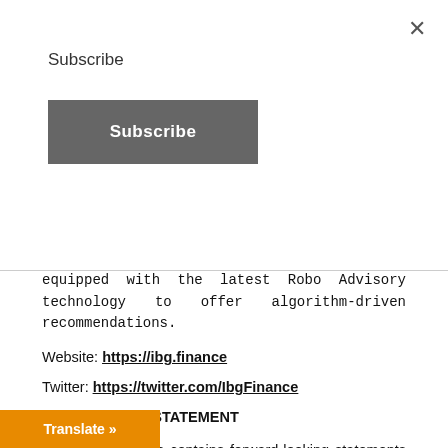Subscribe
Subscribe (button)
equipped with the latest Robo Advisory technology to offer algorithm-driven recommendations.
Website: https://ibg.finance
Twitter: https://twitter.com/IbgFinance
SAFE HARBOR STATEMENT
This press release contains forward-looking statements that can be identified by terminology such as “believes,” “expects,” “potential,” “plans,” “suggests,” “may,” “should,” “could,” “intends,” or similar expressions. Many forward-looking statements involve known and unknown risks, and other factors that may cause actual